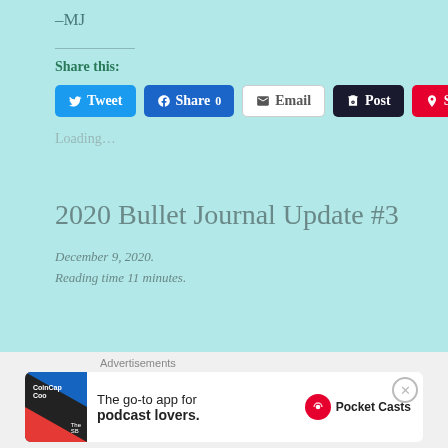–MJ
Share this:
Tweet | Share 0 | Email | Post | Save
Loading…
2020 Bullet Journal Update #3
December 9, 2020.
Reading time 11 minutes.
[Figure (other): Advertisement banner for Pocket Casts: 'The go-to app for podcast lovers.']